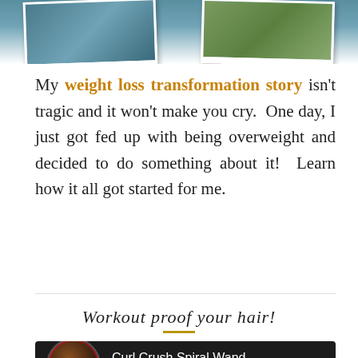[Figure (photo): Two overlapping polaroid-style photos at the top of the page showing a person's weight loss transformation. Left photo shows upper body in blue outfit, right photo shows outdoor scene.]
My weight loss transformation story isn't tragic and it won't make you cry.  One day, I just got fed up with being overweight and decided to do something about it!  Learn how it all got started for me.
Workout proof your hair!
[Figure (screenshot): YouTube video player screenshot showing 'Curl Crush Spiral Wand Curl...' video with circular channel thumbnail of a woman in a red outfit, playlist icon, and vertical dots menu icon.]